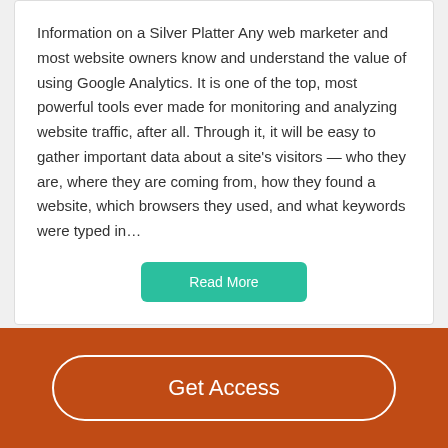Information on a Silver Platter Any web marketer and most website owners know and understand the value of using Google Analytics. It is one of the top, most powerful tools ever made for monitoring and analyzing website traffic, after all. Through it, it will be easy to gather important data about a site's visitors — who they are, where they are coming from, how they found a website, which browsers they used, and what keywords were typed in…
Read More
Popular Essays
Get Access